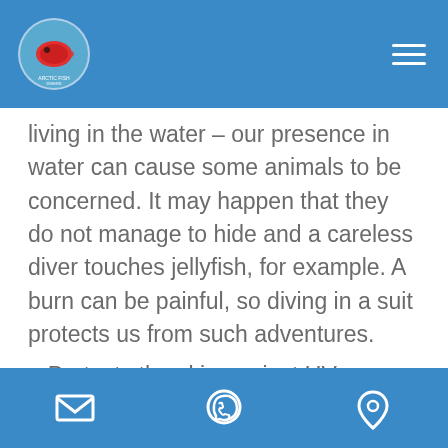Arctic Fish Divers logo and navigation
living in the water – our presence in water can cause some animals to be concerned. It may happen that they do not manage to hide and a careless diver touches jellyfish, for example. A burn can be painful, so diving in a suit protects us from such adventures.
Protects the skin against UV radiation – water and sun are a way for a beautiful...
Email, WhatsApp, Location icons